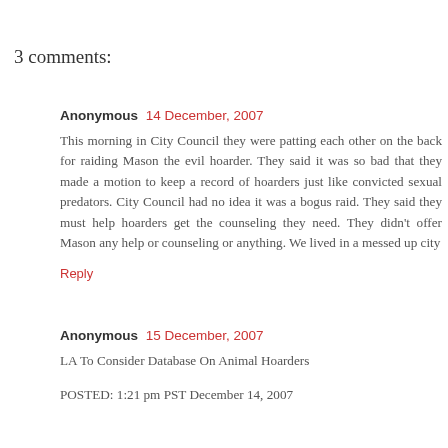3 comments:
Anonymous  14 December, 2007
This morning in City Council they were patting each other on the back for raiding Mason the evil hoarder. They said it was so bad that they made a motion to keep a record of hoarders just like convicted sexual predators. City Council had no idea it was a bogus raid. They said they must help hoarders get the counseling they need. They didn't offer Mason any help or counseling or anything. We lived in a messed up city
Reply
Anonymous  15 December, 2007
LA To Consider Database On Animal Hoarders
POSTED: 1:21 pm PST December 14, 2007